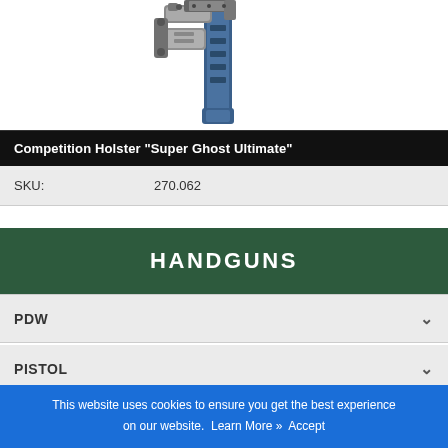[Figure (photo): Close-up photo of a competition holster 'Super Ghost Ultimate', showing mechanical components in blue and grey colors]
Competition Holster "Super Ghost Ultimate"
| SKU: | 270.062 |
HANDGUNS
PDW
PISTOL
REVOLVER
This website uses cookies to ensure you get the best experience on our website. Learn More » Accept